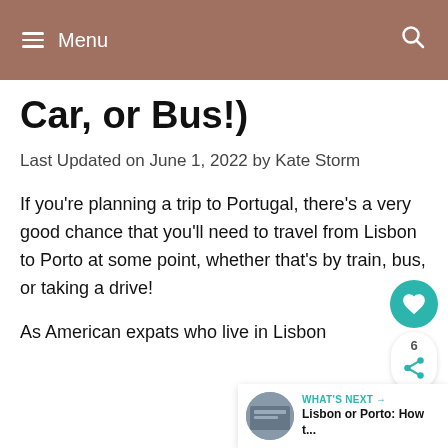Menu
Car, or Bus!)
Last Updated on June 1, 2022 by Kate Storm
If you’re planning a trip to Portugal, there’s a very good chance that you’ll need to travel from Lisbon to Porto at some point, whether that’s by train, bus, or taking a drive!
As American expats who live in Lisbon